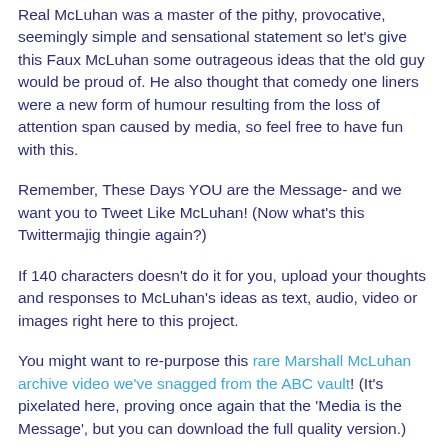Real McLuhan was a master of the pithy, provocative, seemingly simple and sensational statement so let's give this Faux McLuhan some outrageous ideas that the old guy would be proud of. He also thought that comedy one liners were a new form of humour resulting from the loss of attention span caused by media, so feel free to have fun with this.
Remember, These Days YOU are the Message- and we want you to Tweet Like McLuhan! (Now what's this Twittermajig thingie again?)
If 140 characters doesn't do it for you, upload your thoughts and responses to McLuhan's ideas as text, audio, video or images right here to this project.
You might want to re-purpose this rare Marshall McLuhan archive video we've snagged from the ABC vault! (It's pixelated here, proving once again that the 'Media is the Message', but you can download the full quality version.)